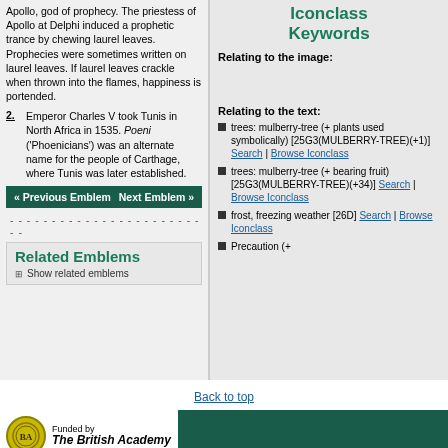Apollo, god of prophecy. The priestess of Apollo at Delphi induced a prophetic trance by chewing laurel leaves. Prophecies were sometimes written on laurel leaves. If laurel leaves crackle when thrown into the flames, happiness is portended.
2. Emperor Charles V took Tunis in North Africa in 1535. Poeni ('Phoenicians') was an alternate name for the people of Carthage, where Tunis was later established.
Iconclass Keywords
Relating to the image:
Relating to the text:
trees: mulberry-tree (+ plants used symbolically) [25G3(MULBERRY-TREE)(+1)] Search | Browse Iconclass
trees: mulberry-tree (+ bearing fruit) [25G3(MULBERRY-TREE)(+34)] Search | Browse Iconclass
frost, freezing weather [26D] Search | Browse Iconclass
Precaution (+
« Previous Emblem   Next Emblem »
Related Emblems
Show related emblems
Back to top
[Figure (logo): The British Academy funded by logo with circular emblem]